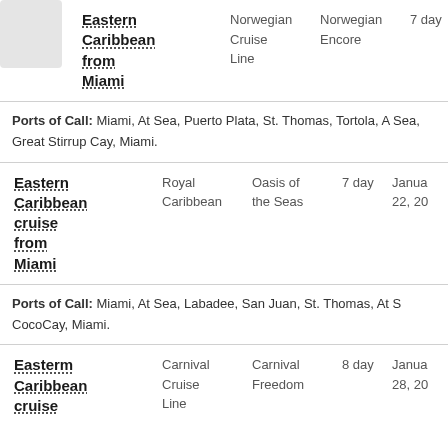| Cruise Name | Cruise Line | Ship | Duration | Date |
| --- | --- | --- | --- | --- |
| Eastern Caribbean from Miami | Norwegian Cruise Line | Norwegian Encore | 7 day | January 22, 20 |
| Eastern Caribbean cruise from Miami | Royal Caribbean | Oasis of the Seas | 7 day | January 22, 20 |
| Eastern Caribbean cruise | Carnival Cruise Line | Carnival Freedom | 8 day | January 28, 20 |
Ports of Call: Miami, At Sea, Puerto Plata, St. Thomas, Tortola, At Sea, Great Stirrup Cay, Miami.
Ports of Call: Miami, At Sea, Labadee, San Juan, St. Thomas, At Sea, CocoCay, Miami.